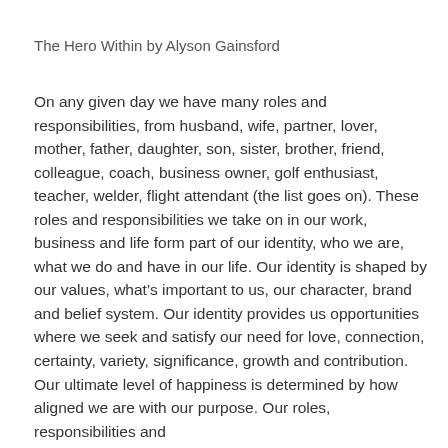The Hero Within by Alyson Gainsford
On any given day we have many roles and responsibilities, from husband, wife, partner, lover, mother, father, daughter, son, sister, brother, friend, colleague, coach, business owner, golf enthusiast, teacher, welder, flight attendant (the list goes on). These roles and responsibilities we take on in our work, business and life form part of our identity, who we are, what we do and have in our life. Our identity is shaped by our values, what’s important to us, our character, brand and belief system. Our identity provides us opportunities where we seek and satisfy our need for love, connection, certainty, variety, significance, growth and contribution. Our ultimate level of happiness is determined by how aligned we are with our purpose. Our roles, responsibilities and